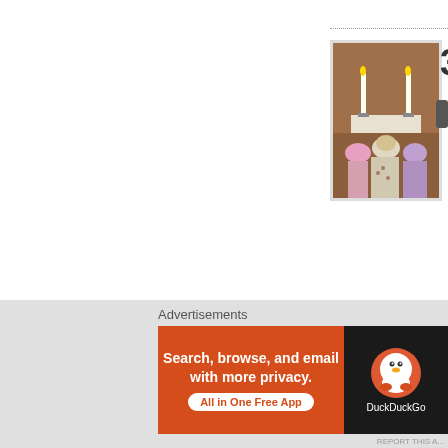[Figure (photo): Thumbnail photo of people at a church altar with candles and wooden paneling]
3
He Wi
I pray that the mercy
Advertisements
[Figure (screenshot): DuckDuckGo advertisement banner: 'Search, browse, and email with more privacy. All in One Free App' with DuckDuckGo logo on dark background]